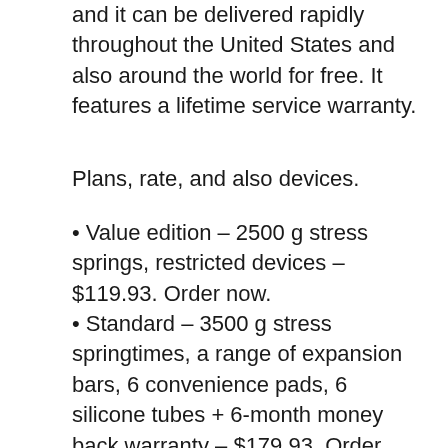and it can be delivered rapidly throughout the United States and also around the world for free. It features a lifetime service warranty.
Plans, rate, and also devices.
Value edition – 2500 g stress springs, restricted devices – $119.93. Order now.
Standard – 3500 g stress springtimes, a range of expansion bars, 6 convenience pads, 6 silicone tubes + 6-month money back warranty – $179.93. Order now.
Deluxe – 4000 g force springtimes, wood case, 12 silicone tubes, 12 comfort pads, extra accessories, life time service warranty, medical grade comfort pads, penis pump – $349.93. Order now.